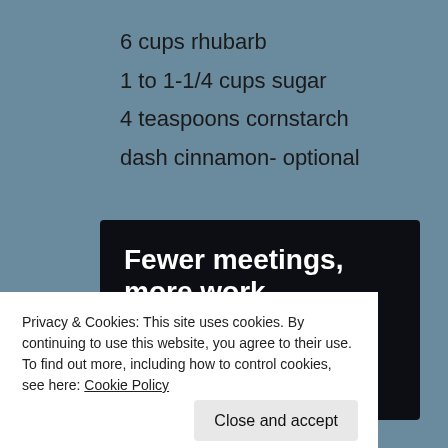6 cups rhubarb
1 to 1-1/4 cups sugar
4 teaspoons cornstarch
dash cinnamon- optional
[Figure (infographic): Advertisement banner with dark background reading 'Fewer meetings, more work.' with a 'Get started for free' button]
Privacy & Cookies: This site uses cookies. By continuing to use this website, you agree to their use.
To find out more, including how to control cookies, see here: Cookie Policy
Close and accept